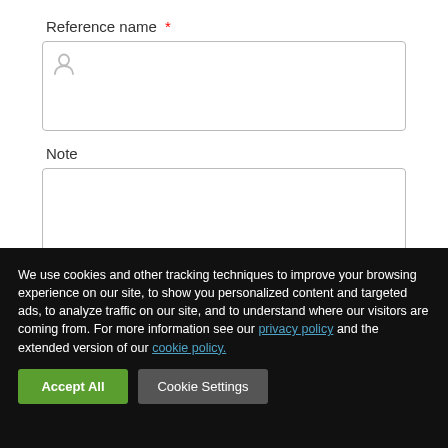Reference name *
[Figure (other): Text input field with person/user icon placeholder for reference name]
Note
[Figure (other): Multiline textarea input for note]
We use cookies and other tracking techniques to improve your browsing experience on our site, to show you personalized content and targeted ads, to analyze traffic on our site, and to understand where our visitors are coming from. For more information see our privacy policy and the extended version of our cookie policy.
Accept All
Cookie Settings